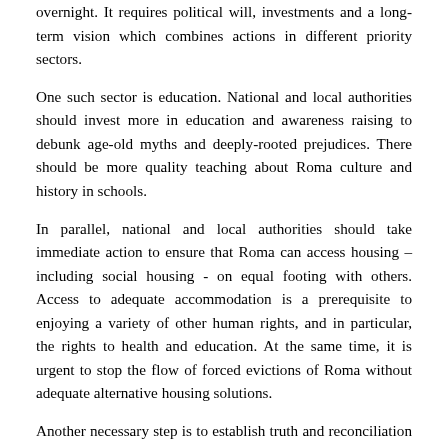overnight. It requires political will, investments and a long-term vision which combines actions in different priority sectors.
One such sector is education. National and local authorities should invest more in education and awareness raising to debunk age-old myths and deeply-rooted prejudices. There should be more quality teaching about Roma culture and history in schools.
In parallel, national and local authorities should take immediate action to ensure that Roma can access housing – including social housing - on equal footing with others. Access to adequate accommodation is a prerequisite to enjoying a variety of other human rights, and in particular, the rights to health and education. At the same time, it is urgent to stop the flow of forced evictions of Roma without adequate alternative housing solutions.
Another necessary step is to establish truth and reconciliation commissions that set the record straight on